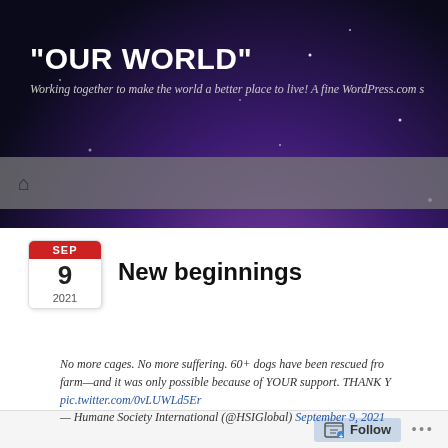"OUR WORLD"
Working together to make the world a better place to live! A fine WordPress.com s
[Figure (illustration): Navigation bar with home icon on dark/grey background]
[Figure (illustration): Calendar icon showing SEP 9 2021 in red and white]
New beginnings
No more cages. No more suffering. 60+ dogs have been rescued from farm—and it was only possible because of YOUR support. THANK Y pic.twitter.com/0vLUWLd5Er
— Humane Society International (@HSIGlobal) September 9, 2021
Follow ...